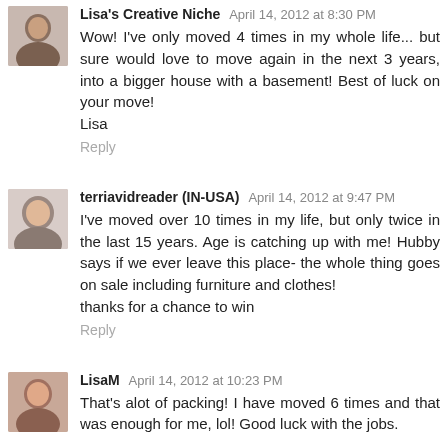Lisa's Creative Niche April 14, 2012 at 8:30 PM
Wow! I've only moved 4 times in my whole life... but sure would love to move again in the next 3 years, into a bigger house with a basement! Best of luck on your move!
Lisa
Reply
terriavidreader (IN-USA) April 14, 2012 at 9:47 PM
I've moved over 10 times in my life, but only twice in the last 15 years. Age is catching up with me! Hubby says if we ever leave this place- the whole thing goes on sale including furniture and clothes!
thanks for a chance to win
Reply
LisaM April 14, 2012 at 10:23 PM
That's alot of packing! I have moved 6 times and that was enough for me, lol! Good luck with the jobs.